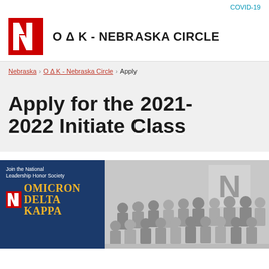COVID-19
O Δ K - NEBRASKA CIRCLE
Nebraska › O Δ K - Nebraska Circle › Apply
Apply for the 2021-2022 Initiate Class
[Figure (photo): Left: Navy blue promotional panel for Omicron Delta Kappa national leadership honor society with text 'Join the National Leadership Honor Society' and large yellow text 'OMICRON DELTA KAPPA' with a red Nebraska N logo. Right: Black and white group photograph of approximately 20 students posing in front of a large Nebraska N logo on a wall.]